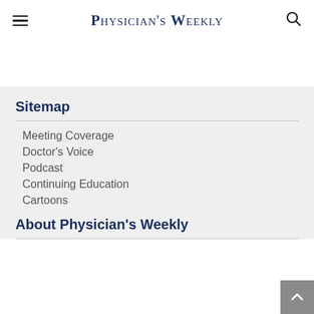Physician's Weekly
Sitemap
Meeting Coverage
Doctor's Voice
Podcast
Continuing Education
Cartoons
About Physician's Weekly